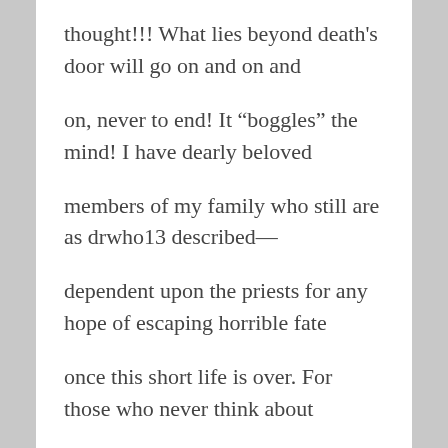thought!!! What lies beyond death's door will go on and on and
on, never to end! It “boggles” the mind! I have dearly beloved
members of my family who still are as drwho13 described—
dependent upon the priests for any hope of escaping horrible fate
once this short life is over. For those who never think about
eternity, it is another story; they may be reached